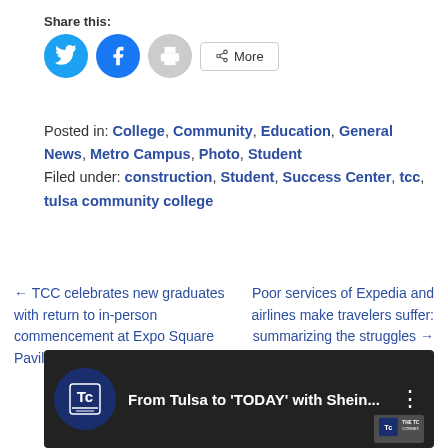Share this:
[Figure (other): Share buttons: Twitter (blue circle), Facebook (blue circle), Print (grey circle), More button with share icon]
Posted in: College, Community, Education, General News, Metro Campus, Photo, Student
Filed under: construction, Student, Success Center, tcc, tulsa community college
← TCC celebrates new graduates with return to in-person commencement at Expo Square Pavilion
Poor services of Expedia and airlines make travelers suffer: summarizing the struggles →
[Figure (screenshot): Video thumbnail showing TCC logo and text 'From Tulsa to TODAY with Shein...' on dark background]